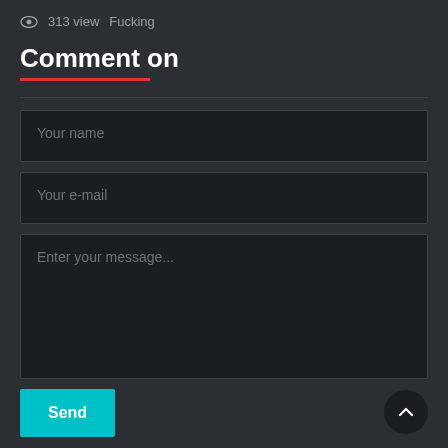313 view  Fucking
Comment on
Your name
Your e-mail
Enter your message...
Send
Video comments (0)